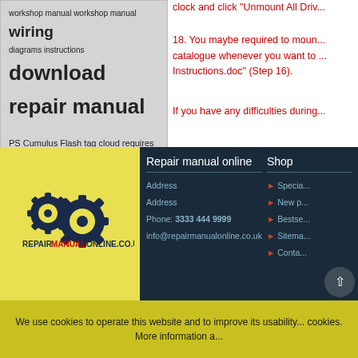[Figure (illustration): Tag cloud with terms: workshop manual (repeated), wiring diagrams instructions, download, repair manual in varying font sizes on grey background]
PS Cumulus Flash tag cloud requires Flash Player 9 or better.
clock and click "Unmount All Driv...
18. You may be required to mount catalogue whenever you want to... Instructions.doc" (Step 16).
If you have any difficulties during...
[Figure (logo): Repair Manual Online logo: two dark blue gears on yellow background with text REPAIR MANUALONLINE.CO.UK]
Repair manual online
Address
Address
Phone: 3333 444 9999
info@repairmanualonline.co.uk
Shop
▶ Specia...
▶ New p...
▶ Bestse...
▶ Sitema...
▶ Conta...
We use cookies to operate this website and to improve its usability... cookies. More information a...